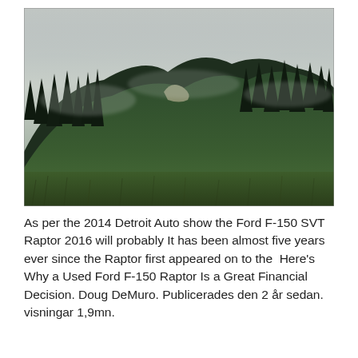[Figure (photo): Misty forest landscape with green hills covered in dark pine trees, fog hanging over the hilltops, green meadow grass in the foreground.]
As per the 2014 Detroit Auto show the Ford F-150 SVT Raptor 2016 will probably It has been almost five years ever since the Raptor first appeared on to the  Here's Why a Used Ford F-150 Raptor Is a Great Financial Decision. Doug DeMuro. Publicerades den 2 år sedan. visningar 1,9mn.